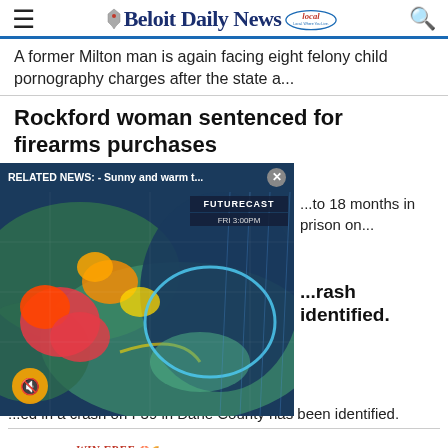Beloit Daily News
A former Milton man is again facing eight felony child pornography charges after the state a...
Rockford woman sentenced for firearms purchases
[Figure (screenshot): RELATED NEWS: - Sunny and warm t... weather map overlay showing FUTURECAST radar with FRI 3:00PM timestamp, mute button visible]
...to 18 months in prison on...
...rash identified.
...ed in a crash on I-39 in Dane County has been identified.
[Figure (infographic): WIN FREE Groceries FOR A YEAR $1,000 PRIZE! ENTER NOW - Sponsored by First Community Credit Union firstccu.com advertisement banner]